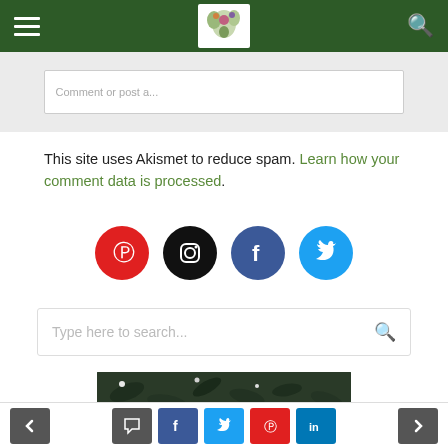Navigation bar with hamburger menu, logo, and search icon
[Figure (screenshot): Partial comment input box with placeholder text]
This site uses Akismet to reduce spam. Learn how your comment data is processed.
[Figure (infographic): Social media icons: Pinterest (red), Instagram (black), Facebook (blue), Twitter (light blue)]
[Figure (screenshot): Search bar with placeholder text 'Type here to search...' and search icon]
[Figure (photo): Photo of dense dark green foliage/leaves]
Navigation and social share toolbar: back arrow, comment, Facebook, Twitter, Pinterest, LinkedIn, forward arrow